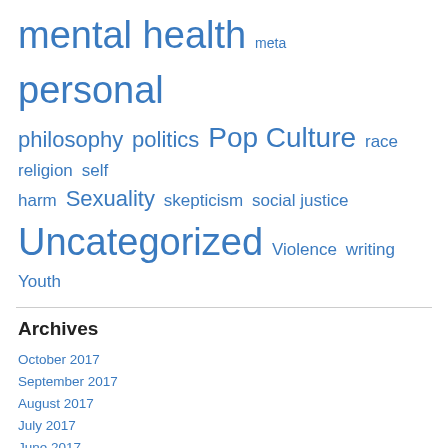mental health  meta  personal  philosophy  politics  Pop Culture  race  religion  self harm  Sexuality  skepticism  social justice  Uncategorized  Violence  writing  Youth
Archives
October 2017
September 2017
August 2017
July 2017
June 2017
May 2017
February 2017
January 2017
December 2016